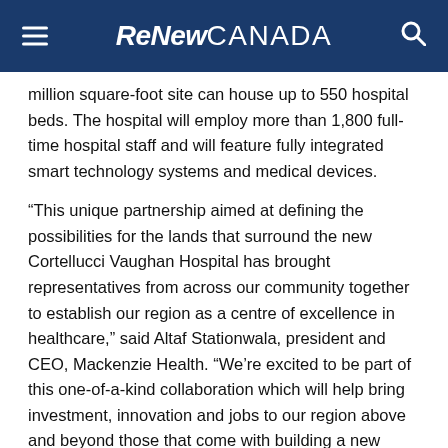ReNew CANADA
million square-foot site can house up to 550 hospital beds. The hospital will employ more than 1,800 full-time hospital staff and will feature fully integrated smart technology systems and medical devices.
“This unique partnership aimed at defining the possibilities for the lands that surround the new Cortellucci Vaughan Hospital has brought representatives from across our community together to establish our region as a centre of excellence in healthcare,” said Altaf Stationwala, president and CEO, Mackenzie Health. “We’re excited to be part of this one-of-a-kind collaboration which will help bring investment, innovation and jobs to our region above and beyond those that come with building a new hospital.”